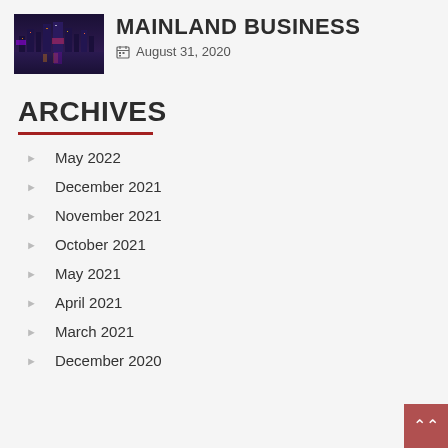[Figure (photo): City skyline at night with colorful lights reflected on water]
MAINLAND BUSINESS
August 31, 2020
ARCHIVES
May 2022
December 2021
November 2021
October 2021
May 2021
April 2021
March 2021
December 2020